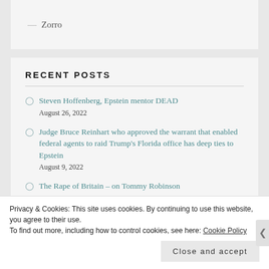— Zorro
RECENT POSTS
Steven Hoffenberg, Epstein mentor DEAD
August 26, 2022
Judge Bruce Reinhart who approved the warrant that enabled federal agents to raid Trump's Florida office has deep ties to Epstein
August 9, 2022
The Rape of Britain – on Tommy Robinson
Privacy & Cookies: This site uses cookies. By continuing to use this website, you agree to their use.
To find out more, including how to control cookies, see here: Cookie Policy
Close and accept